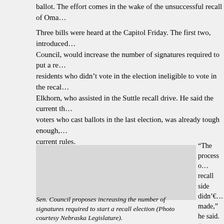ballot. The effort comes in the wake of the unsuccessful recall of Oma…
Three bills were heard at the Capitol Friday. The first two, introduced… Council, would increase the number of signatures required to put a re… residents who didn't vote in the election ineligible to vote in the recal… Elkhorn, who assisted in the Suttle recall drive. He said the current th… voters who cast ballots in the last election, was already tough enough,… current rules.
“The process o… recall side didn’€… made,” he said. “… It’s when there’€… there that people…
Bernback said th… rather be lowered… his group to hire… of relying on vol… State Sen. Bill Av… recalls only eligi… Council said if th… recall on the ball…
[Figure (photo): Photo of Nebraska Legislature building or Senator Council, used to illustrate the article about recall election signature requirements.]
Sen. Council proposes increasing the number of signatures required to start a recall election (Photo courtesy Nebraska Legislature).